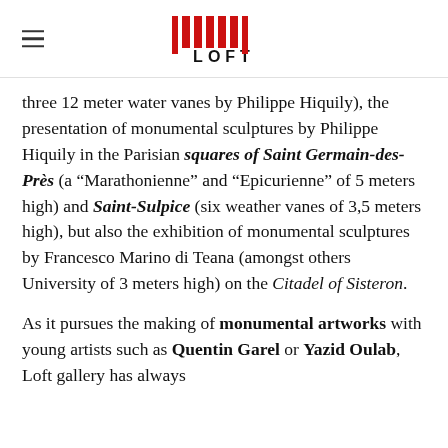LOFT (logo)
three 12 meter water vanes by Philippe Hiquily), the presentation of monumental sculptures by Philippe Hiquily in the Parisian squares of Saint Germain-des-Près (a “Marathonienne” and “Epicurienne” of 5 meters high) and Saint-Sulpice (six weather vanes of 3,5 meters high), but also the exhibition of monumental sculptures by Francesco Marino di Teana (amongst others University of 3 meters high) on the Citadel of Sisteron.
As it pursues the making of monumental artworks with young artists such as Quentin Garel or Yazid Oulab, Loft gallery has always